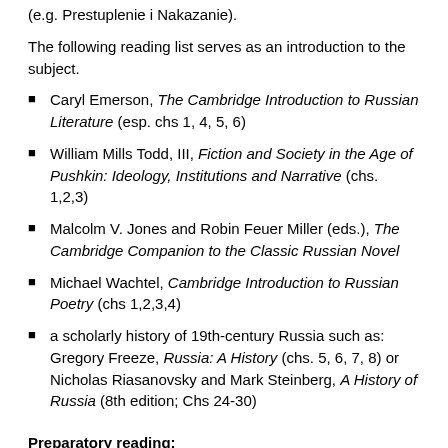(e.g. Prestuplenie i Nakazanie).
The following reading list serves as an introduction to the subject.
Caryl Emerson, The Cambridge Introduction to Russian Literature (esp. chs 1, 4, 5, 6)
William Mills Todd, III, Fiction and Society in the Age of Pushkin: Ideology, Institutions and Narrative (chs. 1,2,3)
Malcolm V. Jones and Robin Feuer Miller (eds.), The Cambridge Companion to the Classic Russian Novel
Michael Wachtel, Cambridge Introduction to Russian Poetry (chs 1,2,3,4)
a scholarly history of 19th-century Russia such as: Gregory Freeze, Russia: A History (chs. 5, 6, 7, 8) or Nicholas Riasanovsky and Mark Steinberg, A History of Russia (8th edition; Chs 24-30)
Preparatory reading:
Students are urged to buy and read both Set Texts during the summer (or Year Abroad), as well as, in particular,